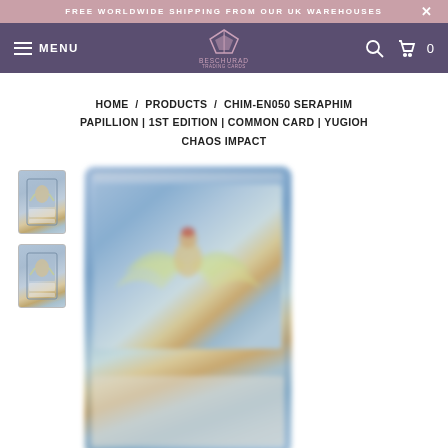FREE WORLDWIDE SHIPPING FROM OUR UK WAREHOUSES
[Figure (screenshot): Navigation bar with menu, logo, search and cart icons on purple background]
HOME / PRODUCTS / CHIM-EN050 SERAPHIM PAPILLION | 1ST EDITION | COMMON CARD | YUGIOH CHAOS IMPACT
[Figure (photo): Two small thumbnail images of a Yugioh card (Seraphim Papillion) stacked vertically on the left, and a large blurred main image of the same Yugioh card on the right]